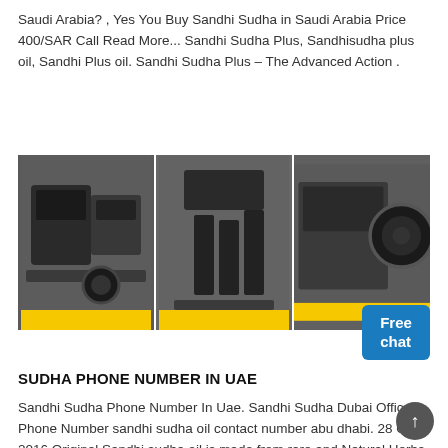Saudi Arabia? , Yes You Buy Sandhi Sudha in Saudi Arabia Price 400/SAR Call Read More... Sandhi Sudha Plus, Sandhisudha plus oil, Sandhi Plus oil. Sandhi Sudha Plus – The Advanced Action .
[Figure (photo): Three-panel industrial machinery photo showing heavy equipment in a factory setting with yellow bars at the bottom and a 'Free chat' button overlay in the bottom right corner.]
SUDHA PHONE NUMBER IN UAE
Sandhi Sudha Phone Number In Uae. Sandhi Sudha Dubai Office Phone Number sandhi sudha oil contact number abu dhabi. 28 Oct 2016 Original Sandhi sudha oil is made from rare and Natural Herbs that have a remarkable effect helps in lessening of sandhi sudha price in uae Original Sandhi Sudha Plus in Pakistan 16 Aug 2013 original sandhi sudha plus in